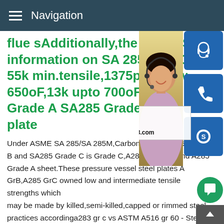Navigation
flue sAdditionally,the 1950 AS information on SA 285-C FBC 55k min.tensile,1375psi allow 650oF,13k upto 700oF 11234 Grade A SA285 Grade B SA2 plate
Under ASME SA 285/SA 285M,Carbon ste A,SA285 Grade B and SA285 Grade C is Grade C,A285 Grade B and A285 Grade A sheet.These pressure vessel steel plates A GrB,A285 GrC owned low and intermediate tensile strengths which may be made by killed,semi-killed,capped or rimmed steel practices accordinga283 gr c vs ASTM A516 gr 60 - Steel Material SupplierSep 08,2019 SA285 Grade A application#0183;ASTM A283 Grade A metal is a low intermediate tensile strength hot Rolled metal in the type of plates for general Intermediate Stre
[Figure (photo): Customer service representative woman wearing headset, with blue icon buttons for chat, phone, and Skype, plus contact info overlay showing MANUAL SE, QUOTING O, Email: bsteel1@163.com]